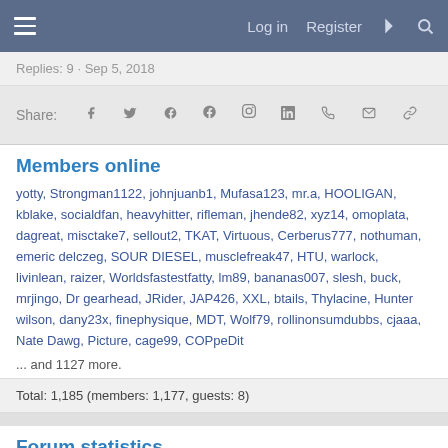Log in  Register
Replies: 9 · Sep 5, 2018
Share:
Members online
yotty, Strongman1122, johnjuanb1, Mufasa123, mr.a, HOOLIGAN, kblake, socialdfan, heavyhitter, rifleman, jhende82, xyz14, omoplata, dagreat, misctake7, sellout2, TKAT, Virtuous, Cerberus777, nothuman, emeric delczeg, SOUR DIESEL, musclefreak47, HTU, warlock, livinlean, raizer, Worldsfastestfatty, lm89, bananas007, slesh, buck, mrjingo, Dr gearhead, JRider, JAP426, XXL, btails, Thylacine, Hunter wilson, dany23x, finephysique, MDT, Wolf79, rollinonsumdubbs, cjaaa, Nate Dawg, Picture, cage99, COPpeDit
... and 1127 more.
Total: 1,185 (members: 1,177, guests: 8)
Forum statistics